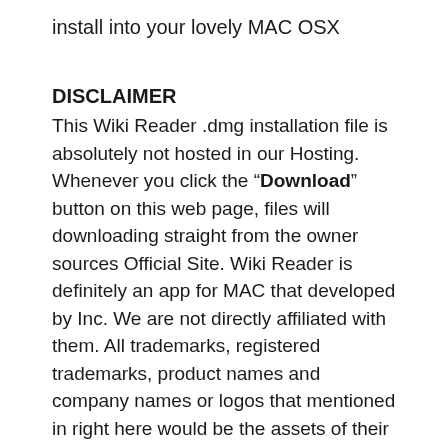install into your lovely MAC OSX
DISCLAIMER
This Wiki Reader .dmg installation file is absolutely not hosted in our Hosting. Whenever you click the “Download” button on this web page, files will downloading straight from the owner sources Official Site. Wiki Reader is definitely an app for MAC that developed by Inc. We are not directly affiliated with them. All trademarks, registered trademarks, product names and company names or logos that mentioned in right here would be the assets of their respective owners. We’re DMCA-compliant and gladly to work with you.